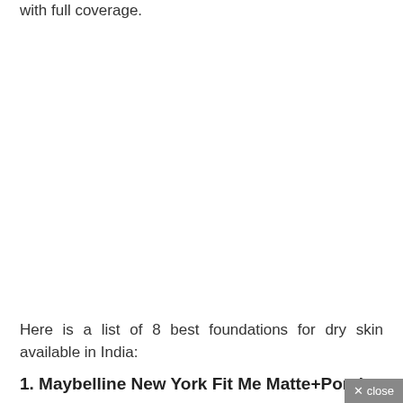with full coverage.
Here is a list of 8 best foundations for dry skin available in India:
1. Maybelline New York Fit Me Matte+Porele...